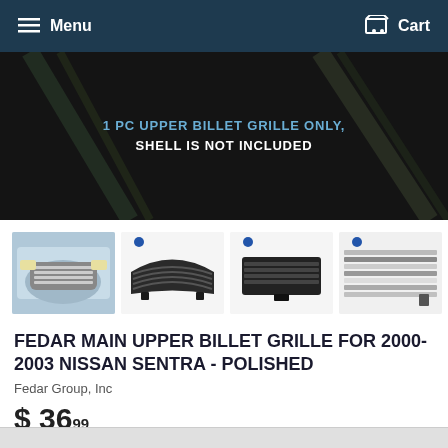Menu   Cart
[Figure (photo): Product main image with dark background and diagonal light streaks, overlaid text: '1 PC UPPER BILLET GRILLE ONLY, SHELL IS NOT INCLUDED']
[Figure (photo): Four thumbnail images of billet grille product: car front view, grille close-up 1, grille close-up 2, grille close-up 3]
FEDAR MAIN UPPER BILLET GRILLE FOR 2000-2003 NISSAN SENTRA - POLISHED
Fedar Group, Inc
$ 36.99